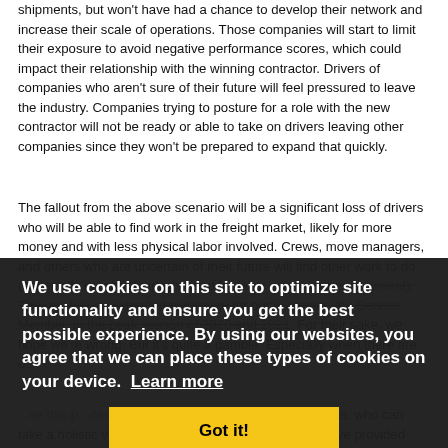shipments, but won't have had a chance to develop their network and increase their scale of operations. Those companies will start to limit their exposure to avoid negative performance scores, which could impact their relationship with the winning contractor. Drivers of companies who aren't sure of their future will feel pressured to leave the industry. Companies trying to posture for a role with the new contractor will not be ready or able to take on drivers leaving other companies since they won't be prepared to expand that quickly.
The fallout from the above scenario will be a significant loss of drivers who will be able to find work in the freight market, likely for more money and with less physical labor involved. Crews, move managers, and others who are uncertain of their future will find other work to do (especially in light of today's need for labor and low unemployment). The result is an extended nightmare for our customer, the Service Member, in the peak season of 2020 and 2021. For their sake, we hope we're wrong. But it's quite a gamble. Especially when there are o...
...ve this p...des the DoD leadership at the highest levels, who can take a holistic view of the program. Industry experts have provided DTCI/Transcom with resounding feedback about how to proceed but, to date, those experts are being ignored in favor of the DoD's limited understanding of the complex household goods marketplace.
In the meantime, we know there is a lot of scrutiny on the PCS peak season this summer and we encourage all of our members to do their best to make sure to provide our military customer with the highest level of customer service
[Figure (other): Cookie consent overlay banner with dark background. Text reads: 'We use cookies on this site to optimize site functionality and ensure you get the best possible experience. By using our websites, you agree that we can place these types of cookies on your device. Learn more' with a 'Got it!' yellow button.]